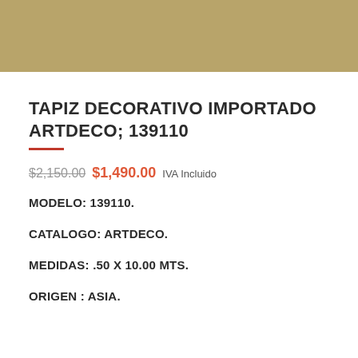[Figure (photo): Product image placeholder with golden/tan background color]
TAPIZ DECORATIVO IMPORTADO ARTDECO; 139110
$2,150.00 $1,490.00 IVA Incluido
MODELO: 139110.
CATALOGO: ARTDECO.
MEDIDAS: .50 X 10.00 Mts.
ORIGEN : ASIA.